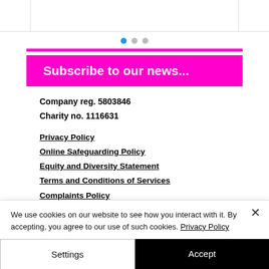[Figure (screenshot): Top navigation/carousel strip with left box, main content box, and right box]
[Figure (other): Carousel pagination dots: one blue (active), two grey (inactive)]
[Figure (other): Magenta horizontal rule/bar]
Subscribe to our news...
Company reg. 5803846
Charity no. 1116631
Privacy Policy
Online Safeguarding Policy
Equity and Diversity Statement
Terms and Conditions of Services
Complaints Policy
We use cookies on our website to see how you interact with it. By accepting, you agree to our use of such cookies. Privacy Policy
Settings
Accept